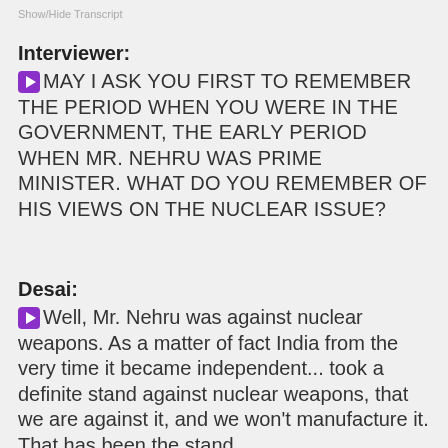Show/Hide Transcript
Interviewer:
MAY I ASK YOU FIRST TO REMEMBER THE PERIOD WHEN YOU WERE IN THE GOVERNMENT, THE EARLY PERIOD WHEN MR. NEHRU WAS PRIME MINISTER. WHAT DO YOU REMEMBER OF HIS VIEWS ON THE NUCLEAR ISSUE?
Desai:
Well, Mr. Nehru was against nuclear weapons. As a matter of fact India from the very time it became independent... took a definite stand against nuclear weapons, that we are against it, and we won't manufacture it. That has been the stand